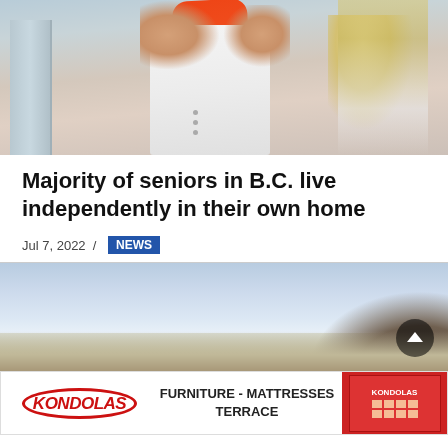[Figure (photo): Person in white jacket and orange scarf gesturing with hands raised, with a blonde-haired person visible on the right side]
Majority of seniors in B.C. live independently in their own home
Jul 7, 2022 / NEWS
[Figure (photo): Outdoor landscape photo showing a blue sky and hills or mountains in the background]
[Figure (other): Kondolas advertisement banner: FURNITURE - MATTRESSES TERRACE, showing the Kondolas logo on the left, text in center, and a red building/store image on the right]